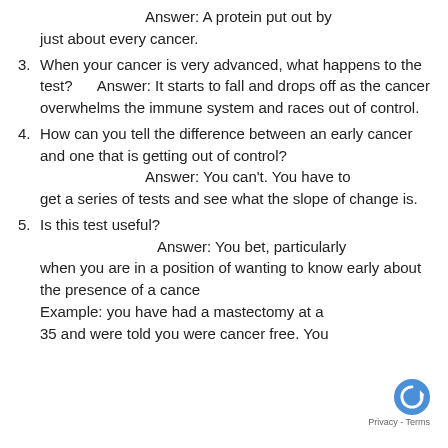Answer: A protein put out by just about every cancer.
3. When your cancer is very advanced, what happens to the test? Answer: It starts to fall and drops off as the cancer overwhelms the immune system and races out of control.
4. How can you tell the difference between an early cancer and one that is getting out of control? Answer: You can't. You have to get a series of tests and see what the slope of change is.
5. Is this test useful? Answer: You bet, particularly when you are in a position of wanting to know early about the presence of a cancer. Example: you have had a mastectomy at age 35 and were told you were cancer free. You